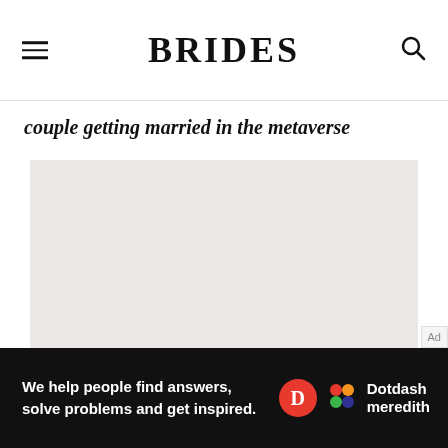BRIDES
couple getting married in the metaverse
[Figure (photo): Large image area showing a couple getting married in the metaverse (image content not visible, blush/pink-gray background placeholder)]
Ad
We help people find answers, solve problems and get inspired. Dotdash meredith